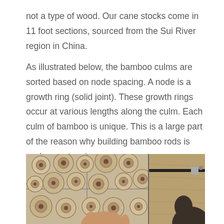not a type of wood. Our cane stocks come in 11 foot sections, sourced from the Sui River region in China.
As illustrated below, the bamboo culms are sorted based on node spacing. A node is a growth ring (solid joint). These growth rings occur at various lengths along the culm. Each culm of bamboo is unique. This is a large part of the reason why building bamboo rods is such an extensive process.
[Figure (photo): Overhead view of cross-sections of bamboo culms stacked together, with a hand reaching in from below. On the right side, a fishing rod and a person are partially visible against a wooden background.]